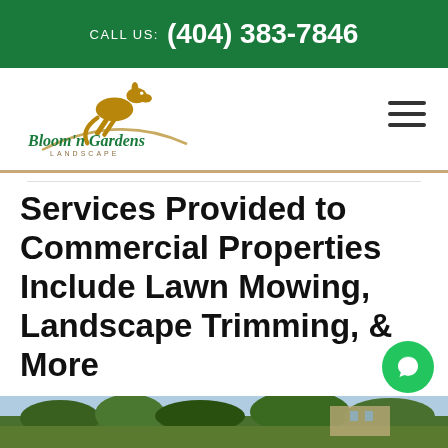CALL US: (404) 383-7846
[Figure (logo): Bloom'n Gardens Landscape logo with kangaroo silhouette jumping over an arc, company name in green and gold script below]
Services Provided to Commercial Properties Include Lawn Mowing, Landscape Trimming, & More
[Figure (photo): Partial view of a landscaped property with trees and greenery at the bottom of the page]